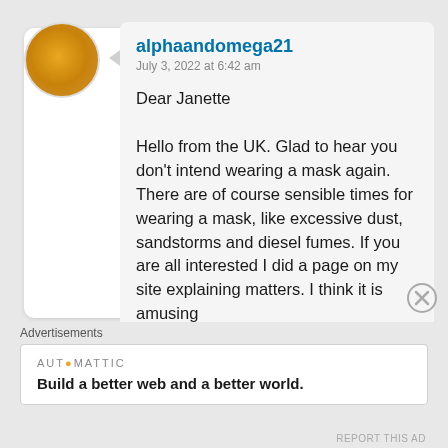alphaandomega21
July 3, 2022 at 6:42 am
Dear Janette

Hello from the UK. Glad to hear you don't intend wearing a mask again. There are of course sensible times for wearing a mask, like excessive dust, sandstorms and diesel fumes. If you are all interested I did a page on my site explaining matters. I think it is amusing
Advertisements
AUTOMATTIC
Build a better web and a better world.